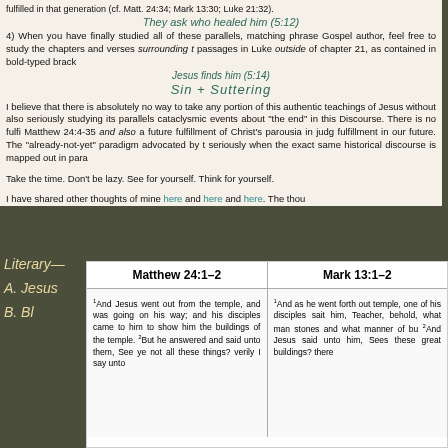fulfilled in that generation (cf. Matt. 24:34; Mark 13:30; Luke 21:32).
They ask who healed him (5:12)
4) When you have finally studied all of these parallels, matching phrase Gospel author, feel free to study the chapters and verses surrounding t passages in Luke outside of chapter 21, as contained in bold-typed brack
Jesus finds him (5:14)
Sin + Suttering
I believe that there is absolutely no way to take any portion of this authentic teachings of Jesus without also seriously studying its parallels cataclysmic events about "the end" in this Discourse. There is no fulfi Matthew 24:4-35 and also a future fulfillment of Christ's parousia in judg fulfillment in our future. The "already-not-yet" paradigm advocated by t seriously when the exact same historical discourse is mapped out in para
Take the time. Don't be lazy. See for yourself. Think for yourself.
I have shared other thoughts of mine here and here and here. The thou
| Matthew 24:1–2 | Mark 13:1–2 |
| --- | --- |
| ¹And Jesus went out from the temple, and was going on his way; and his disciples came to him to show him the buildings of the temple. ²But he answered and said unto them, See ye not all these things? verily I say unto | ¹And as he went forth out temple, one of his disciples sait him, Teacher, behold, what man stones and what manner of bu ²And Jesus said unto him, Sees these great buildings? there |
Literary—
A. Jesus
B. Bl